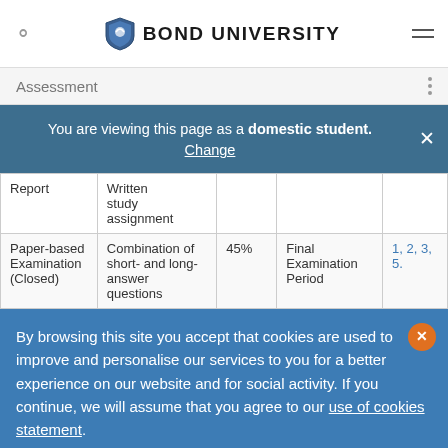BOND UNIVERSITY
Assessment
You are viewing this page as a domestic student. Change
|  |  |  |  |  |
| --- | --- | --- | --- | --- |
| Report | Written study assignment |  |  |  |
| Paper-based Examination (Closed) | Combination of short- and long-answer questions | 45% | Final Examination Period | 1, 2, 3, 5. |
By browsing this site you accept that cookies are used to improve and personalise our services to you for a better experience on our website and for social activity. If you continue, we will assume that you agree to our use of cookies statement.